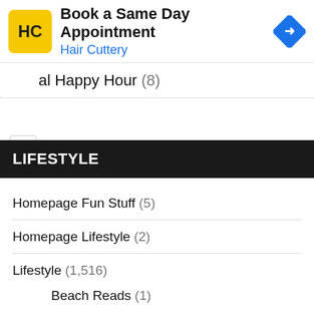[Figure (screenshot): Hair Cuttery ad banner with yellow HC logo, 'Book a Same Day Appointment' headline, 'Hair Cuttery' subtitle in blue, and blue diamond navigation icon]
al Happy Hour (8)
LIFESTYLE
Homepage Fun Stuff (5)
Homepage Lifestyle (2)
Lifestyle (1,516)
Beach Reads (1)
Cannabis (4)
Celebrity Sightings (6)
Entertainment (19)